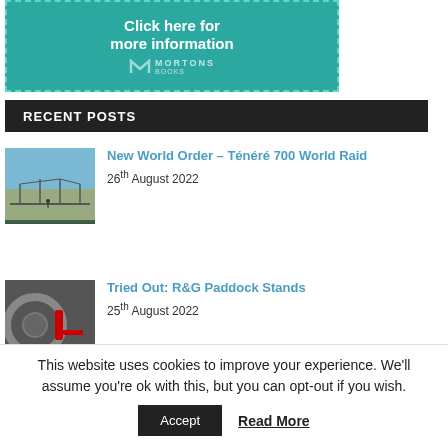[Figure (illustration): Teal advertisement banner with dotted white border, text 'Click here for more information' in white bold, and Mortons Books logo below]
RECENT POSTS
[Figure (photo): Thumbnail photo of a bridge or railway bridge from low angle with sky above]
New World Order – Ténéré 700 World Raid
26th August 2022
[Figure (photo): Thumbnail photo of a motorcycle wheel/paddock stand close-up]
Tried Out: R&G Paddock Stands
25th August 2022
This website uses cookies to improve your experience. We'll assume you're ok with this, but you can opt-out if you wish.
Accept
Read More